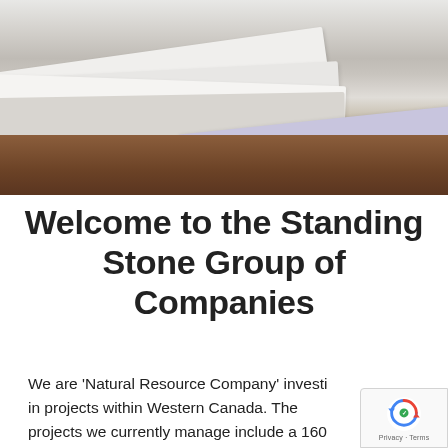[Figure (photo): Photo of stacked white papers/documents on a wooden floor, with a lavender folder visible underneath]
Welcome to the Standing Stone Group of Companies
We are 'Natural Resource Company' investi in projects within Western Canada. The projects we currently manage include a 160